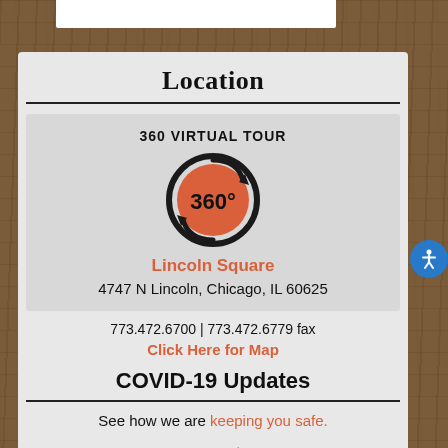Location
[Figure (illustration): 360 Virtual Tour icon — circular arrow with '360°' text in orange/red circle]
Lincoln Square
4747 N Lincoln, Chicago, IL 60625
773.472.6700 | 773.472.6779 fax
Click Here for Map
COVID-19 Updates
See how we are keeping you safe.
[Figure (logo): Partial logo at bottom of page]